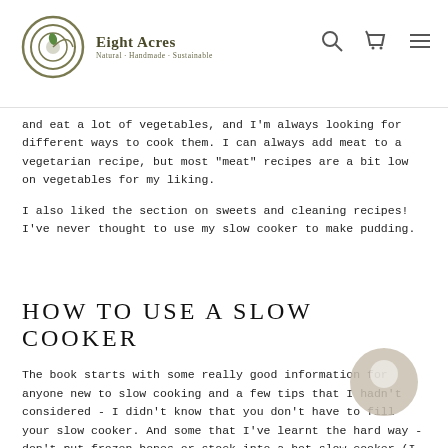Eight Acres — Natural · Handmade · Sustainable
and eat a lot of vegetables, and I'm always looking for different ways to cook them. I can always add meat to a vegetarian recipe, but most "meat" recipes are a bit low on vegetables for my liking.
I also liked the section on sweets and cleaning recipes! I've never thought to use my slow cooker to make pudding.
HOW TO USE A SLOW COOKER
The book starts with some really good information for anyone new to slow cooking and a few tips that I hadn't considered - I didn't know that you don't have to fill your slow cooker. And some that I've learnt the hard way - don't put frozen bones or stock into a hot slow cooker (I cracked mine and had to buy a new one). Also stick blenders are wonderful companions to slow cookers. I use mine to whiz up the sauces and soaps directly in the pot.